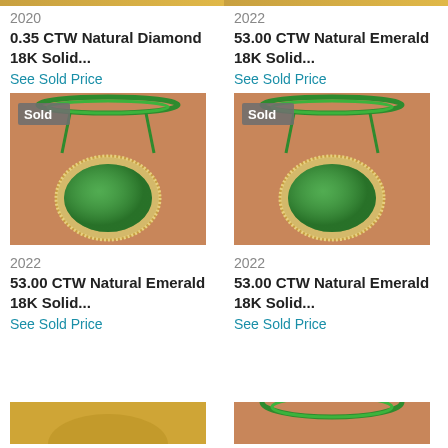[Figure (photo): Jewelry listing image (top left) - emerald necklace pendant, sold, partially cropped at top]
2020
0.35 CTW Natural Diamond 18K Solid...
See Sold Price
[Figure (photo): Jewelry listing image (top right) - emerald necklace pendant, sold, partially cropped at top]
2022
53.00 CTW Natural Emerald 18K Solid...
See Sold Price
[Figure (photo): Jewelry listing image (middle left) - large green emerald oval pendant necklace with Sold badge]
2022
53.00 CTW Natural Emerald 18K Solid...
See Sold Price
[Figure (photo): Jewelry listing image (middle right) - large green emerald oval pendant necklace with Sold badge]
2022
53.00 CTW Natural Emerald 18K Solid...
See Sold Price
[Figure (photo): Jewelry listing image (bottom left) - partially visible, gold tones]
[Figure (photo): Jewelry listing image (bottom right) - partially visible, green emerald necklace]